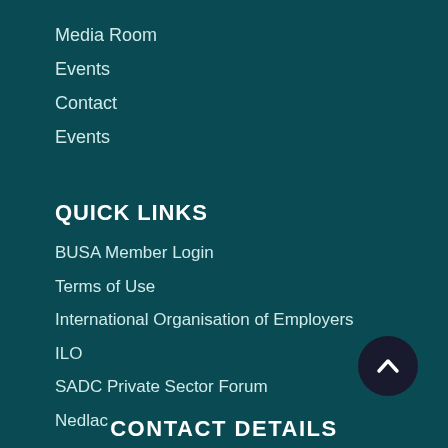Media Room
Events
Contact
Events
QUICK LINKS
BUSA Member Login
Terms of Use
International Organisation of Employers
ILO
SADC Private Sector Forum
Nedlac
SOCIAL MEDIA
[Figure (illustration): Social media icons: Facebook, Twitter, LinkedIn, YouTube]
CONTACT DETAILS